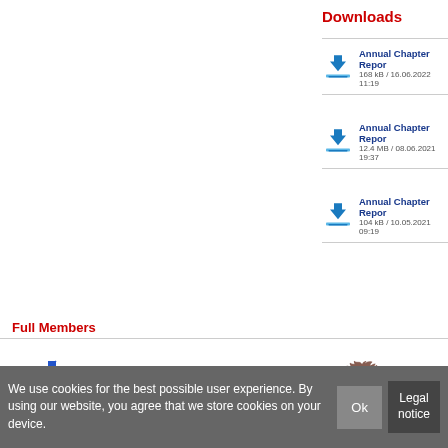Downloads
Annual Chapter Repor...
168 kB / 16.06.2022 11:19
Annual Chapter Repor...
12.4 MB / 08.06.2021 19:37
Annual Chapter Repor...
104 kB / 10.05.2021 09:19
Full Members
[Figure (logo): See Ventures logo with bar chart icon]
[Figure (logo): MSM investorenvereinigung logo]
[Figure (logo): Lion crest logo with 1805]
We use cookies for the best possible user experience. By using our website, you agree that we store cookies on your device.